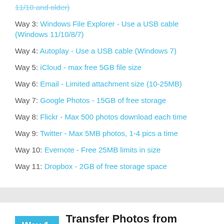Way 3: Windows File Explorer - Use a USB cable (Windows 11/10/8/7)
Way 4: Autoplay - Use a USB cable (Windows 7)
Way 5: iCloud - max free 5GB file size
Way 6: Email - Limited attachment size (10-25MB)
Way 7: Google Photos - 15GB of free storage
Way 8: Flickr - Max 500 photos download each time
Way 9: Twitter - Max 5MB photos, 1-4 pics a time
Way 10: Evernote - Free 25MB limits in size
Way 11: Dropbox - 2GB of free storage space
Way 1. Transfer Photos from iPhone to PC